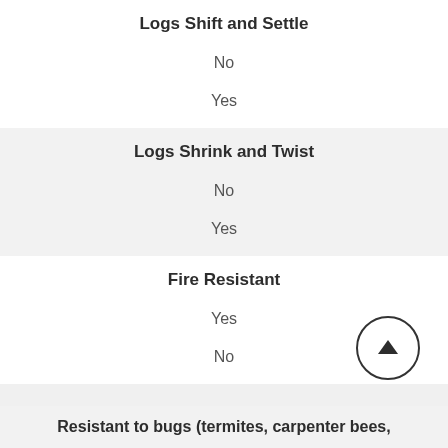Logs Shift and Settle
No
Yes
Logs Shrink and Twist
No
Yes
Fire Resistant
Yes
No
Resistant to bugs (termites, carpenter bees,